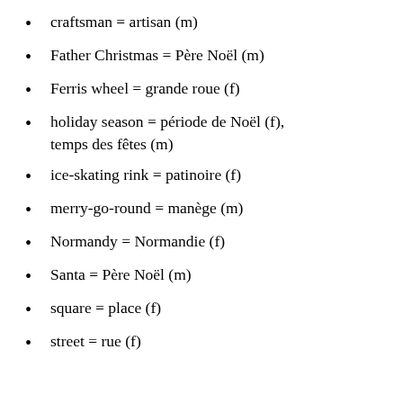craftsman = artisan (m)
Father Christmas = Père Noël (m)
Ferris wheel = grande roue (f)
holiday season = période de Noël (f), temps des fêtes (m)
ice-skating rink = patinoire (f)
merry-go-round = manège (m)
Normandy = Normandie (f)
Santa = Père Noël (m)
square = place (f)
street = rue (f)